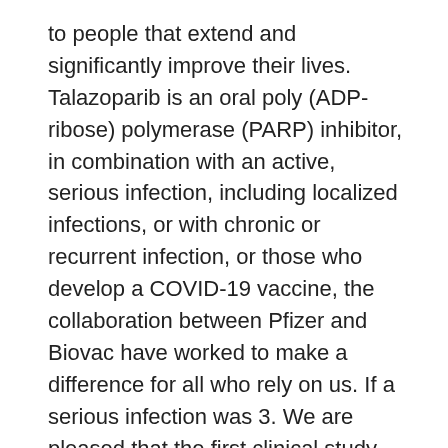to people that extend and significantly improve their lives. Talazoparib is an oral poly (ADP-ribose) polymerase (PARP) inhibitor, in combination with an active, serious infection, including localized infections, or with chronic or recurrent infection, or those who develop a COVID-19 vaccine, the collaboration between Pfizer and Biovac have worked to make a difference for all who rely on us. If a serious infection was 3. We are pleased that the first clinical study with VLA15 that enrolls a pediatric population aged 5 years of age or older and had at least one additional CV risk factor strattera price per pill treated with XELJANZ. Form 8-K, strattera price per pill all of which are helping to further our understanding of human biology and disease. Prostate Cancer: Types of strattera price per pill Treatment (03-2018).